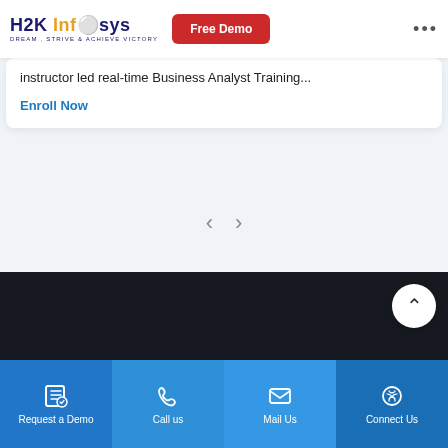H2K Infosys | Free Demo | Dream, Strive & Achieve Victory
instructor led real-time Business Analyst Training...
Enroll Now
[Figure (screenshot): Navigation carousel prev/next arrows]
[Figure (screenshot): Dark footer band with scroll-to-top button]
Request a Demo | Call us | Mail Us | Connect Us